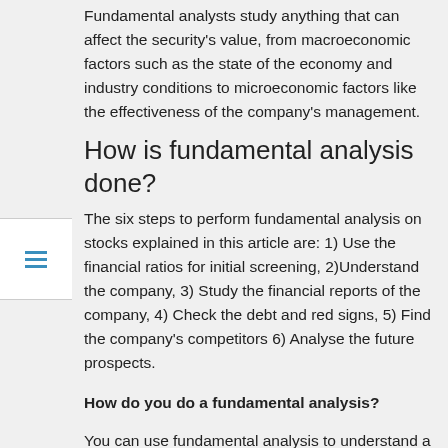Fundamental analysts study anything that can affect the security's value, from macroeconomic factors such as the state of the economy and industry conditions to microeconomic factors like the effectiveness of the company's management.
How is fundamental analysis done?
The six steps to perform fundamental analysis on stocks explained in this article are: 1) Use the financial ratios for initial screening, 2)Understand the company, 3) Study the financial reports of the company, 4) Check the debt and red signs, 5) Find the company's competitors 6) Analyse the future prospects.
How do you do a fundamental analysis?
You can use fundamental analysis to understand a stock's real fair market value. If you use fundamental analysis,